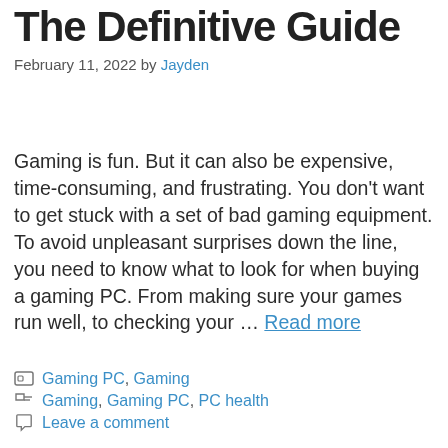The Definitive Guide
February 11, 2022 by Jayden
Gaming is fun. But it can also be expensive, time-consuming, and frustrating. You don't want to get stuck with a set of bad gaming equipment. To avoid unpleasant surprises down the line, you need to know what to look for when buying a gaming PC. From making sure your games run well, to checking your … Read more
Categories: Gaming PC, Gaming
Tags: Gaming, Gaming PC, PC health
Leave a comment